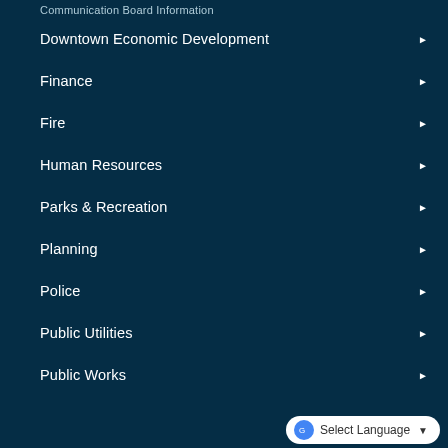Communication Board Information
Downtown Economic Development ▶
Finance ▶
Fire ▶
Human Resources ▶
Parks & Recreation ▶
Planning ▶
Police ▶
Public Utilities ▶
Public Works ▶
Select Language